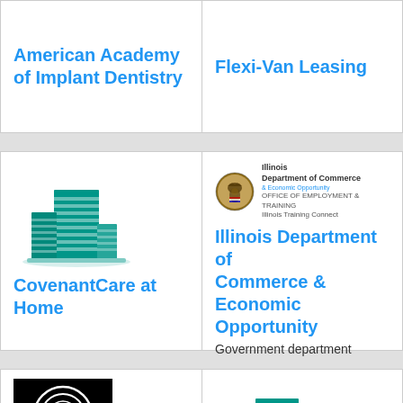American Academy of Implant Dentistry
Flexi-Van Leasing
[Figure (logo): Building icon for CovenantCare at Home]
CovenantCare at Home
[Figure (logo): Illinois Department of Commerce logo with state seal]
Illinois Department of Commerce & Economic Opportunity
Government department
[Figure (logo): Gravity Studios black square logo with G emblem]
Gravity Studios
[Figure (logo): Building icon for Batavia Container Inc]
Batavia Container Inc